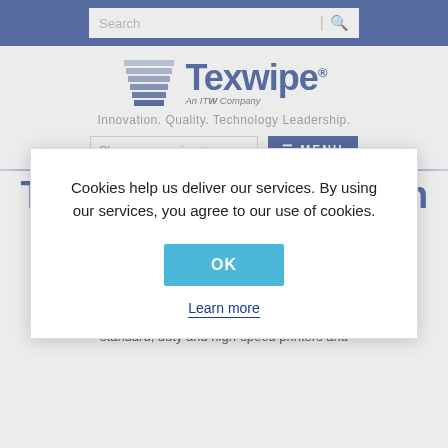[Figure (screenshot): Texwipe website screenshot with navigation bar, logo, cookie consent modal, and product page content]
Cookies help us deliver our services. By using our services, you agree to our use of cookies.
OK
Learn more
Loose Leaf Sheets
TexWrite® cleanroom bond papers reduce the risk of particle generation associated with standard papers. They feature good strength and excellent heat resistance, making them ideal for use in standard, duty and high-speed printers and